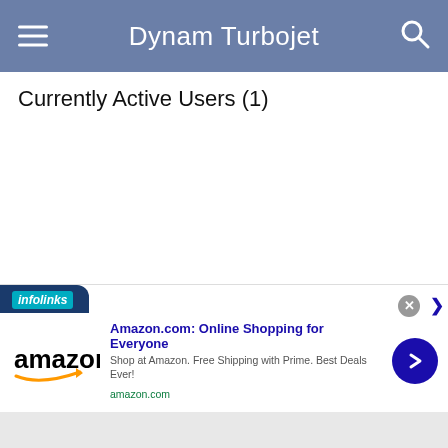Dynam Turbojet
Currently Active Users (1)
[Figure (infographic): Advertisement banner: infolinks label at top left, Amazon.com ad with logo, title 'Amazon.com: Online Shopping for Everyone', description 'Shop at Amazon. Free Shipping with Prime. Best Deals Ever!', url 'amazon.com', blue arrow button on right, close X button and expand arrow at top right]